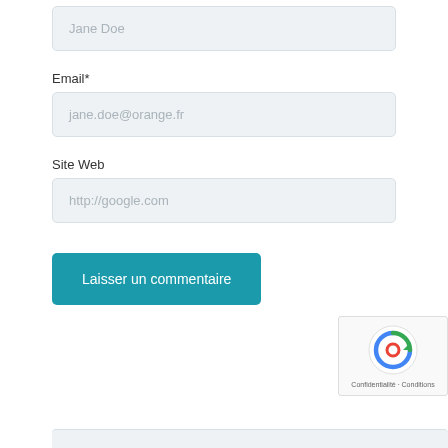Jane Doe
Email*
jane.doe@orange.fr
Site Web
http://google.com
Laisser un commentaire
Confidentialité · Conditions